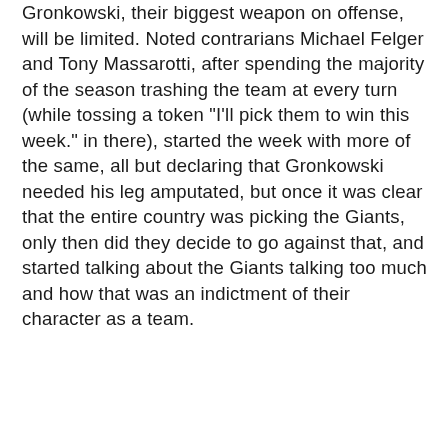Gronkowski, their biggest weapon on offense, will be limited. Noted contrarians Michael Felger and Tony Massarotti, after spending the majority of the season trashing the team at every turn (while tossing a token "I'll pick them to win this week." in there), started the week with more of the same, all but declaring that Gronkowski needed his leg amputated, but once it was clear that the entire country was picking the Giants, only then did they decide to go against that, and started talking about the Giants talking too much and how that was an indictment of their character as a team.